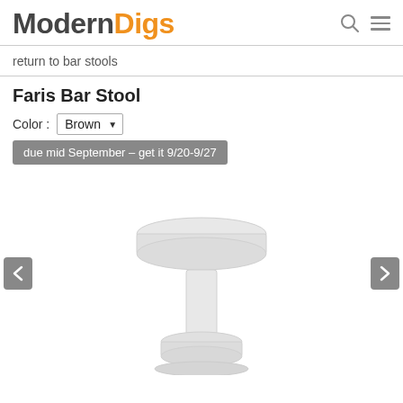Modern Digs
return to bar stools
Faris Bar Stool
Color : Brown
due mid September – get it 9/20-9/27
[Figure (photo): Product image of Faris Bar Stool in light/white color, showing a bar stool with round seat and pedestal base, partially visible. Navigation arrows on left and right.]